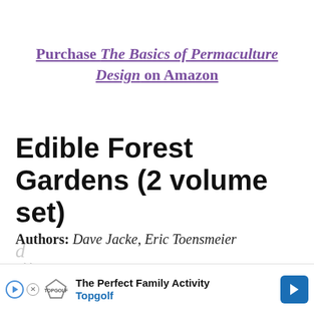Purchase The Basics of Permaculture Design on Amazon
Edible Forest Gardens (2 volume set)
Authors: Dave Jacke, Eric Toensmeier
[Figure (screenshot): Advertisement banner for Topgolf showing 'The Perfect Family Activity' text with Topgolf logo, play button, close button, and blue arrow button]